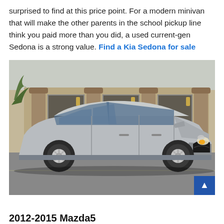surprised to find at this price point. For a modern minivan that will make the other parents in the school pickup line think you paid more than you did, a used current-gen Sedona is a strong value. Find a Kia Sedona for sale
[Figure (photo): Silver Mazda5 minivan parked in front of a building with brick columns and large windows]
2012-2015 Mazda5